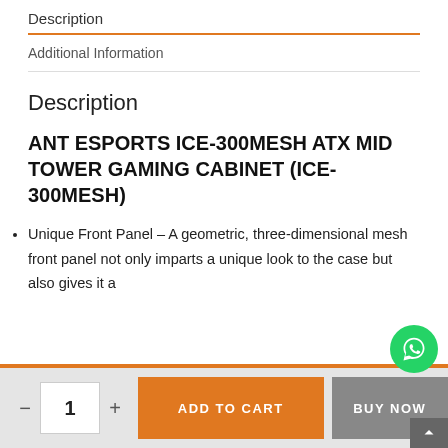Description
Additional Information
Description
ANT ESPORTS ICE-300MESH ATX MID TOWER GAMING CABINET (ICE-300MESH)
Unique Front Panel – A geometric, three-dimensional mesh front panel not only imparts a unique look to the case but also gives it a